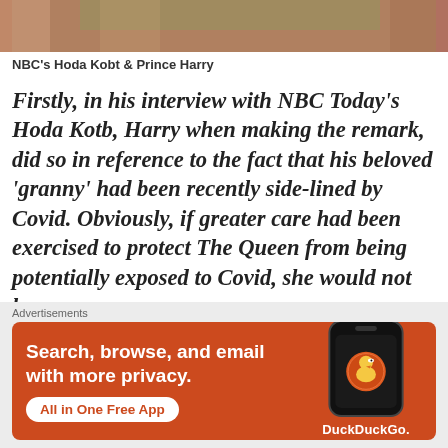[Figure (photo): Photo strip showing NBC's Hoda Kotb and Prince Harry at the top of the page]
NBC's Hoda Kobt & Prince Harry
Firstly, in his interview with NBC Today's Hoda Kotb, Harry when making the remark, did so in reference to the fact that his beloved 'granny' had been recently side-lined by Covid. Obviously, if greater care had been exercised to protect The Queen from being potentially exposed to Covid, she would not have
[Figure (screenshot): DuckDuckGo advertisement banner. Text reads: Search, browse, and email with more privacy. All in One Free App. Shows DuckDuckGo logo and phone mockup on orange/red background.]